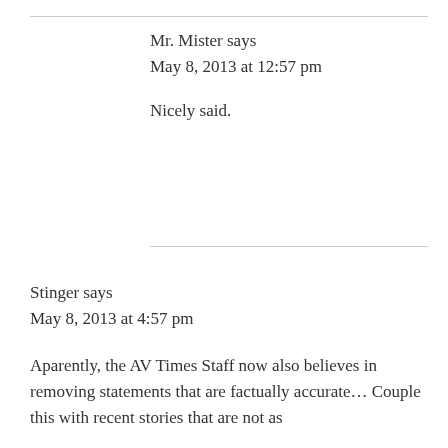Mr. Mister says
May 8, 2013 at 12:57 pm
Nicely said.
Stinger says
May 8, 2013 at 4:57 pm
Aparently, the AV Times Staff now also believes in removing statements that are factually accurate… Couple this with recent stories that are not as